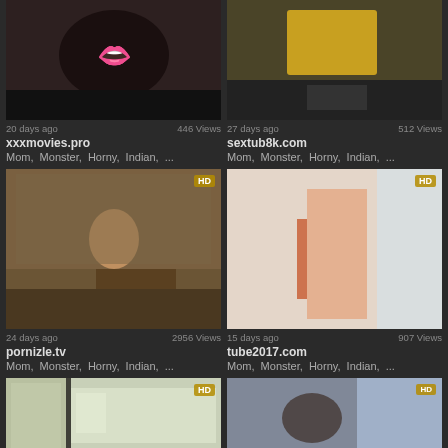[Figure (screenshot): Video thumbnail grid showing adult content website listings with thumbnails, view counts, dates, site names and tags]
20 days ago  446 Views
xxxmovies.pro
Mom,  Monster,  Horny,  Indian, ...
27 days ago  512 Views
sextub8k.com
Mom,  Monster,  Horny,  Indian, ...
24 days ago  2956 Views
pornizle.tv
Mom,  Monster,  Horny,  Indian, ...
15 days ago  907 Views
tube2017.com
Mom,  Monster,  Horny,  Indian, ...